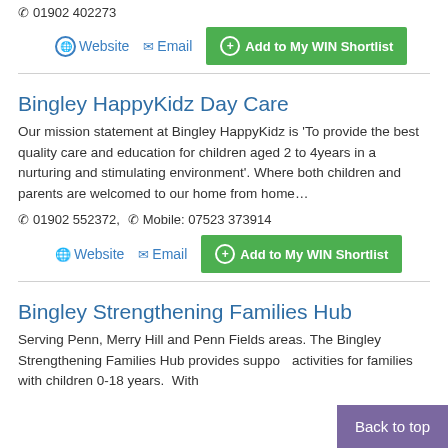01902 402273
Website  Email  Add to My WIN Shortlist
Bingley HappyKidz Day Care
Our mission statement at Bingley HappyKidz is 'To provide the best quality care and education for children aged 2 to 4years in a nurturing and stimulating environment'. Where both children and parents are welcomed to our home from home…
01902 552372,  Mobile: 07523 373914
Website  Email  Add to My WIN Shortlist
Bingley Strengthening Families Hub
Serving Penn, Merry Hill and Penn Fields areas. The Bingley Strengthening Families Hub provides support and activities for families with children 0-18 years.  With a
Back to top